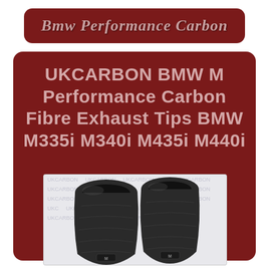Bmw Performance Carbon
UKCARBON BMW M Performance Carbon Fibre Exhaust Tips BMW M335i M340i M435i M440i
[Figure (photo): Two carbon fibre exhaust tips with BMW M badge on a white background with UKCARBON watermark]